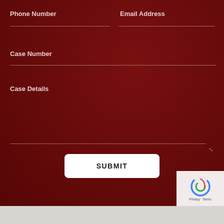Phone Number
Email Address
Case Number
Case Details
SUBMIT
[Figure (other): reCAPTCHA widget with Privacy and Terms links]